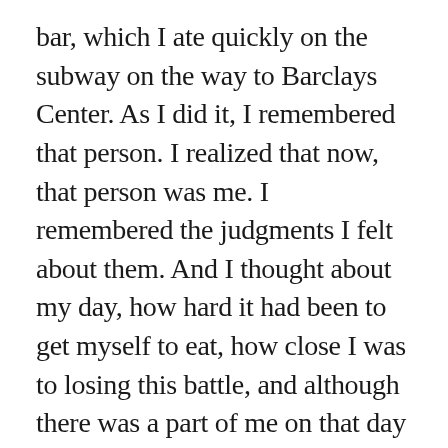bar, which I ate quickly on the subway on the way to Barclays Center. As I did it, I remembered that person. I realized that now, that person was me. I remembered the judgments I felt about them. And I thought about my day, how hard it had been to get myself to eat, how close I was to losing this battle, and although there was a part of me on that day that really felt guilty and ashamed that I was eating in that way or even at all, I realized what a victory it was. I realized that the part of me that didn't want to eat also wanted to stay home feeling bad for myself rather than spending time with